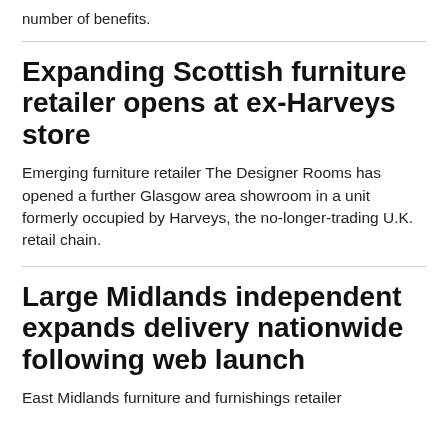number of benefits.
Expanding Scottish furniture retailer opens at ex-Harveys store
Emerging furniture retailer The Designer Rooms has opened a further Glasgow area showroom in a unit formerly occupied by Harveys, the no-longer-trading U.K. retail chain.
Large Midlands independent expands delivery nationwide following web launch
East Midlands furniture and furnishings retailer